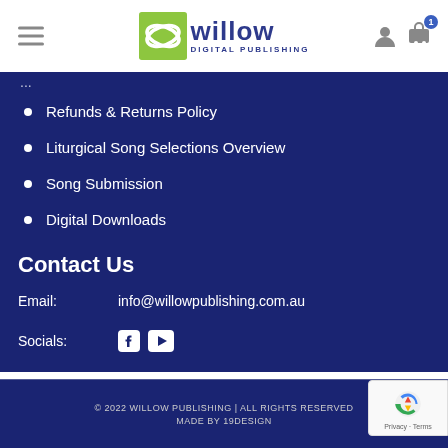[Figure (logo): Willow Digital Publishing logo with green icon and dark blue text]
Refunds & Returns Policy
Liturgical Song Selections Overview
Song Submission
Digital Downloads
Contact Us
Email:    info@willowpublishing.com.au
Socials:  [Facebook icon] [YouTube icon]
© 2022 WILLOW PUBLISHING | ALL RIGHTS RESERVED   MADE BY 19DESIGN